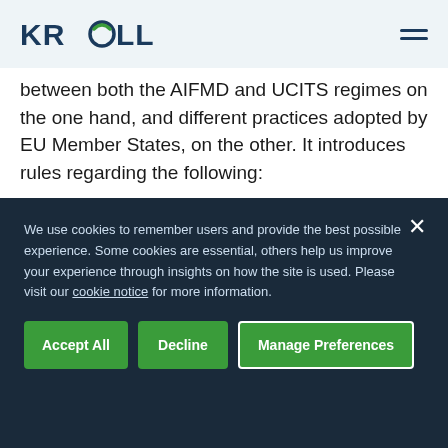KROLL
between both the AIFMD and UCITS regimes on the one hand, and different practices adopted by EU Member States, on the other. It introduces rules regarding the following:
Pre-marketing of Alternative Investment Funds (AIFs)
Provisions for AIFs and UCITS being marketed to
We use cookies to remember users and provide the best possible experience. Some cookies are essential, others help us improve your experience through insights on how the site is used. Please visit our cookie notice for more information.
Accept All
Decline
Manage Preferences